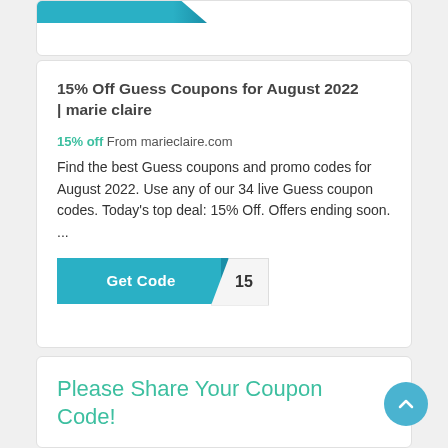[Figure (screenshot): Partial top card with teal/blue gradient bar cropped at top]
15% Off Guess Coupons for August 2022 | marie claire
15% off From marieclaire.com
Find the best Guess coupons and promo codes for August 2022. Use any of our 34 live Guess coupon codes. Today's top deal: 15% Off. Offers ending soon. ...
[Figure (screenshot): Get Code button with teal background and '15' code tab on right]
Please Share Your Coupon Code!